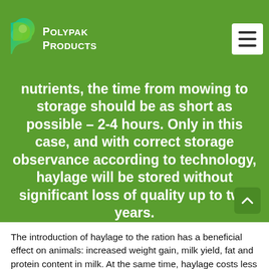Polypak Products
nutrients, the time from mowing to storage should be as short as possible – 2-4 hours. Only in this case, and with correct storage observance according to technology, haylage will be stored without significant loss of quality up to two years.
The introduction of haylage to the ration has a beneficial effect on animals: increased weight gain, milk yield, fat and protein content in milk. At the same time, haylage costs less